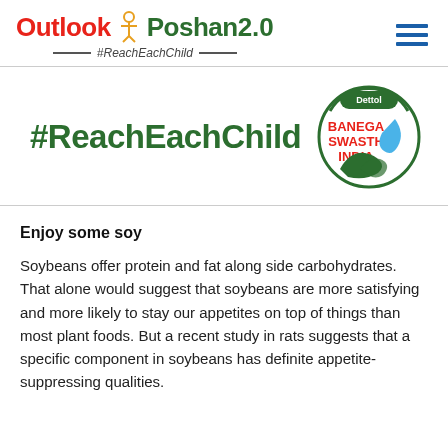Outlook Poshan 2.0 #ReachEachChild
[Figure (logo): Dettol Banega Swasth India circular logo with green leaf and water drop]
#ReachEachChild
Enjoy some soy
Soybeans offer protein and fat along side carbohydrates. That alone would suggest that soybeans are more satisfying and more likely to stay our appetites on top of things than most plant foods. But a recent study in rats suggests that a specific component in soybeans has definite appetite-suppressing qualities.